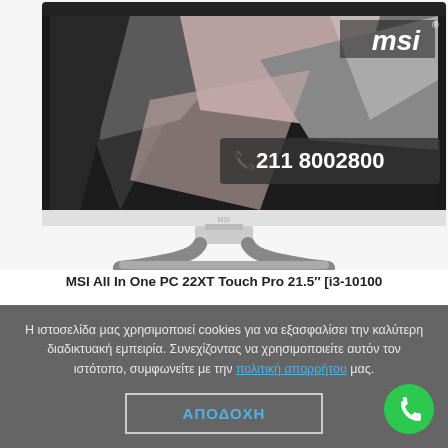[Figure (photo): MSI All-In-One PC product photo showing a 21.5 inch monitor with MSI logo in white on black background with abstract geometric shapes on screen. A phone number overlay reads 211 8002800. The monitor has a sleek silver stand.]
MSI All In One PC 22XT Touch Pro 21.5″ [i3-10100 | 8GB | 256GB SSD M.2 | Win 10 Home | 2Y] /
Η ιστοσελίδα μας χρησιμοποιεί cookies για να εξασφαλίσει την καλύτερη διαδικτυακή εμπειρία. Συνεχίζοντας να χρησιμοποιείτε αυτόν τον ιστότοπο, συμφωνείτε με την πολιτική απορρήτου μας.
ΑΠΟΔΟΧΗ